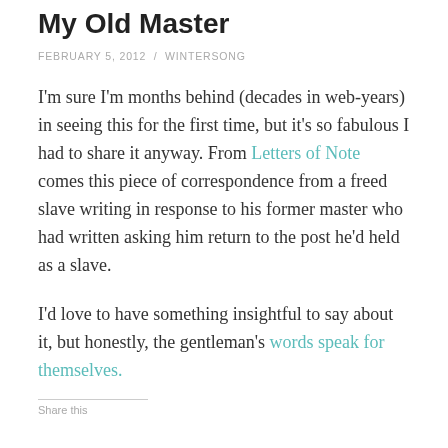My Old Master
FEBRUARY 5, 2012 / WINTERSONG
I'm sure I'm months behind (decades in web-years) in seeing this for the first time, but it's so fabulous I had to share it anyway. From Letters of Note comes this piece of correspondence from a freed slave writing in response to his former master who had written asking him return to the post he'd held as a slave.
I'd love to have something insightful to say about it, but honestly, the gentleman's words speak for themselves.
Share this